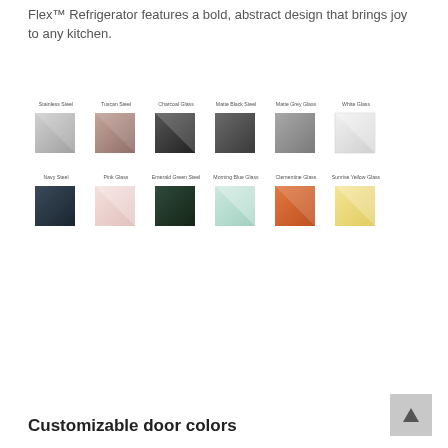Flex™ Refrigerator features a bold, abstract design that brings joy to any kitchen.
[Figure (illustration): Color swatch grid showing 12 door panel finishes: Row 1 - Stainless Steel (silver-grey), Tuscan Steel (rose-brown), Charcoal Glass (dark grey/black), Matte Black Steel (dark grey), Matte Grey Glass (medium grey), White Glass (white/light grey). Row 2 - Navy Steel (dark navy), Pink Glass (pale pink), Emerald Green Steel (dark green), Morning Blue Glass (light teal/mint), Clementine Glass (orange), Sunrise Yellow Glass (pale yellow). Each swatch is a square tile shown at an angle with a label above.]
Customizable door colors